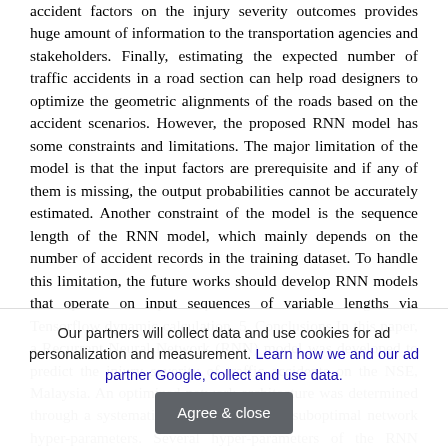accident factors on the injury severity outcomes provides huge amount of information to the transportation agencies and stakeholders. Finally, estimating the expected number of traffic accidents in a road section can help road designers to optimize the geometric alignments of the roads based on the accident scenarios. However, the proposed RNN model has some constraints and limitations. The major limitation of the model is that the input factors are prerequisite and if any of them is missing, the output probabilities cannot be accurately estimated. Another constraint of the model is the sequence length of the RNN model, which mainly depends on the number of accident records in the training dataset. To handle this limitation, the future works should develop RNN models that operate on input sequences of variable lengths via Tensorflow dynamic calculation. 5. Conclusions In this paper, a Recurrent Neural Network (RNN) model was developed to predict the injury severity of traffic accidents on the NSE, Malaysia. An optimized network architecture was determined through a systematic grid search for the suboptimal network hyper-parameters. Several hyper-parameters of the RNN model were critically examined and
Our partners will collect data and use cookies for ad personalization and measurement. Learn how we and our ad partner Google, collect and use data.